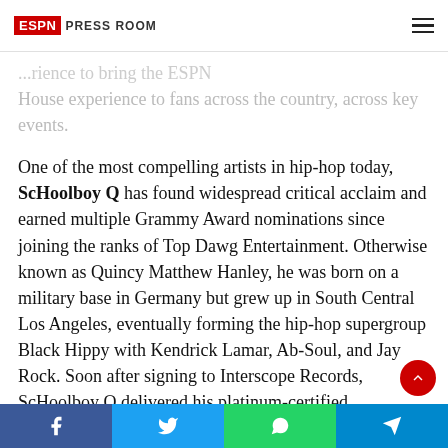ESPN Press Room
House experience to fans across the country, across key events.
One of the most compelling artists in hip-hop today, ScHoolboy Q has found widespread critical acclaim and earned multiple Grammy Award nominations since joining the ranks of Top Dawg Entertainment. Otherwise known as Quincy Matthew Hanley, he was born on a military base in Germany but grew up in South Central Los Angeles, eventually forming the hip-hop supergroup Black Hippy with Kendrick Lamar, Ab-Soul, and Jay Rock. Soon after signing to Interscope Records, ScHoolboy Q delivered his platinum-certified breakthrough album Oxymoron: a 2014 release that garnered a Grammy Award
Share buttons: Facebook, Twitter, WhatsApp, Telegram